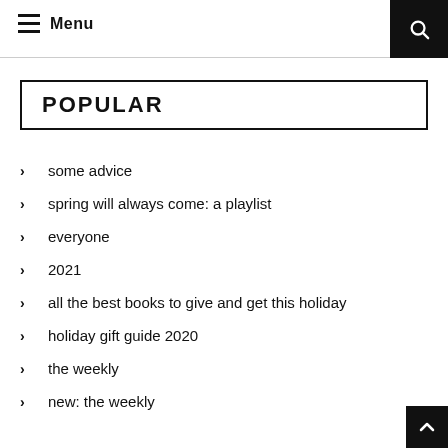Menu
POPULAR
some advice
spring will always come: a playlist
everyone
2021
all the best books to give and get this holiday
holiday gift guide 2020
the weekly
new: the weekly